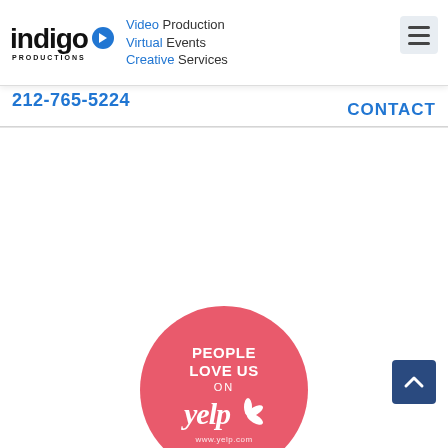[Figure (logo): Indigo Productions logo with play button icon, taglines: Video Production, Virtual Events, Creative Services, and hamburger menu icon]
212-765-5224
CONTACT
[Figure (logo): Yelp 'People Love Us On Yelp' badge - pink circle with white text and Yelp logo with burst icon, www.yelp.com at bottom]